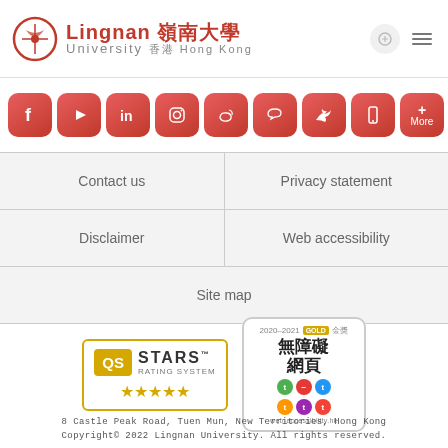Lingnan University 嶺南大學 香港 Hong Kong
[Figure (infographic): Social media icon buttons: Facebook, YouTube, LinkedIn, Instagram, Weibo, WeChat, Twitter, Mobile, More]
Contact us
Privacy statement
Disclaimer
Web accessibility
Site map
[Figure (logo): QS Stars Rating System badge with 5 stars]
[Figure (logo): 2020-2021 Gold 金獎 web accessibility badge - 無障礙網頁 web-accessibility.hk]
8 Castle Peak Road, Tuen Mun, New Territories, Hong Kong
Copyright© 2022 Lingnan University. All rights reserved.